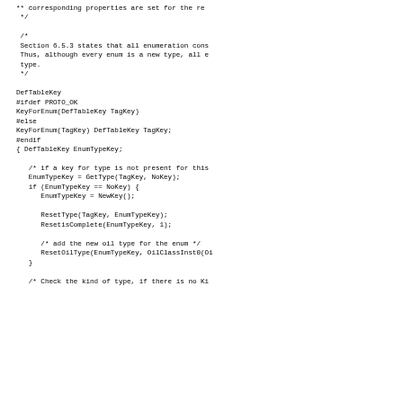** corresponding properties are set for the re
 */

 /*
 Section 6.5.3 states that all enumeration cons
 Thus, although every enum is a new type, all e
 type.
 */

DefTableKey
#ifdef PROTO_OK
KeyForEnum(DefTableKey TagKey)
#else
KeyForEnum(TagKey) DefTableKey TagKey;
#endif
{ DefTableKey EnumTypeKey;

   /* if a key for type is not present for this
   EnumTypeKey = GetType(TagKey, NoKey);
   if (EnumTypeKey == NoKey) {
      EnumTypeKey = NewKey();

      ResetType(TagKey, EnumTypeKey);
      ResetisComplete(EnumTypeKey, 1);

      /* add the new oil type for the enum */
      ResetOilType(EnumTypeKey, OilClassInst0(Oi
   }

   /* Check the kind of type, if there is no Ki